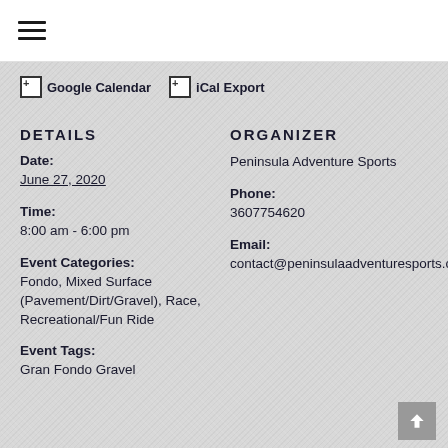≡
+ Google Calendar   + iCal Export
DETAILS
Date:
June 27, 2020
Time:
8:00 am - 6:00 pm
Event Categories:
Fondo, Mixed Surface (Pavement/Dirt/Gravel), Race, Recreational/Fun Ride
Event Tags:
Gran Fondo Gravel
ORGANIZER
Peninsula Adventure Sports
Phone:
3607754620
Email:
contact@peninsulaadventuresports.com